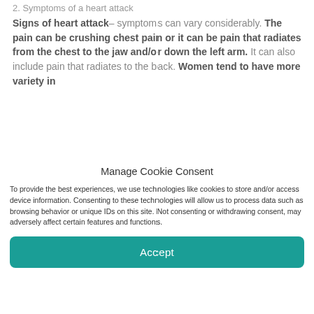2. Symptoms of a heart attack
Signs of heart attack– symptoms can vary considerably. The pain can be crushing chest pain or it can be pain that radiates from the chest to the jaw and/or down the left arm. It can also include pain that radiates to the back. Women tend to have more variety in
Manage Cookie Consent
To provide the best experiences, we use technologies like cookies to store and/or access device information. Consenting to these technologies will allow us to process data such as browsing behavior or unique IDs on this site. Not consenting or withdrawing consent, may adversely affect certain features and functions.
Accept